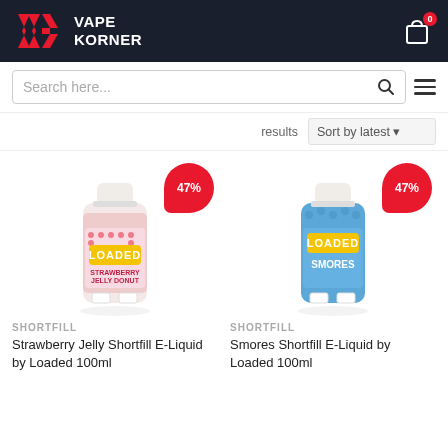[Figure (logo): Vape Korner logo with red VK icon and white text on dark navy header]
[Figure (screenshot): Shopping cart icon with red badge showing 0]
Search here...
results
Sort by latest
[Figure (photo): Strawberry Jelly Donut e-liquid bottle by Loaded 100ml with 47% discount badge]
[Figure (photo): Smores e-liquid bottle by Loaded 100ml with 47% discount badge]
SHORTFILL
Strawberry Jelly Shortfill E-Liquid by Loaded 100ml
SHORTFILL
Smores Shortfill E-Liquid by Loaded 100ml